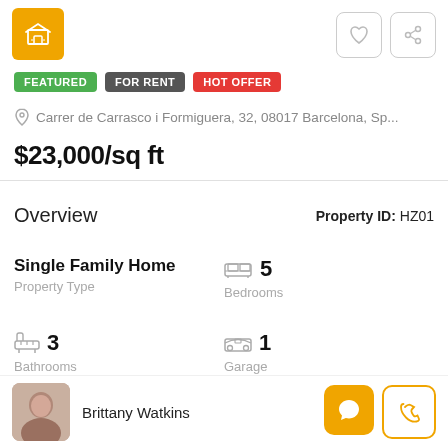[Figure (screenshot): Orange square icon with a house/listing symbol]
FEATURED FOR RENT HOT OFFER
Carrer de Carrasco i Formiguera, 32, 08017 Barcelona, Sp...
$23,000/sq ft
Overview
Property ID: HZ01
Single Family Home
Property Type
5 Bedrooms
3 Bathrooms
1 Garage
Brittany Watkins